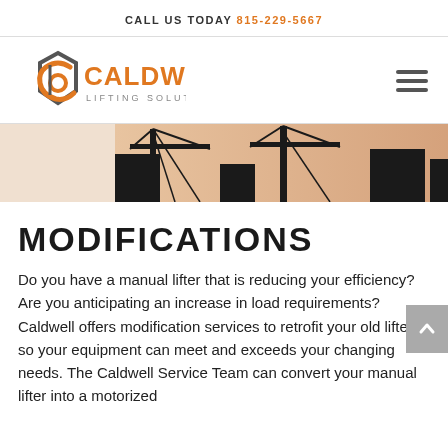CALL US TODAY 815-229-5667
[Figure (logo): Caldwell Lifting Solutions logo with orange and dark gray shield/crane icon]
[Figure (photo): Silhouette of crane/lifting equipment against orange-pink sky background]
MODIFICATIONS
Do you have a manual lifter that is reducing your efficiency? Are you anticipating an increase in load requirements? Caldwell offers modification services to retrofit your old lifter so your equipment can meet and exceeds your changing needs. The Caldwell Service Team can convert your manual lifter into a motorized